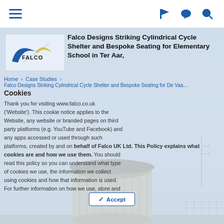Navigation bar with hamburger menu, flag, chat, and search icons
Falco Designs Striking Cylindrical Cycle Shelter and Bespoke Seating for Elementary School in Ter Aar,
Cookies
Thank you for visiting www.falco.co.uk ('Website'). This cookie notice applies to the Website, any website or branded pages on third party platforms (e.g. YouTube and Facebook) and any apps accessed or used through such platforms, created by and on behalf of Falco UK Ltd. This Policy explains what cookies are and how we use them. You should read this policy so you can understand what type of cookies we use, the information we collect using cookies and how that information is used. For further information on how we use, store and
Home › Case Studies ›
Falco Designs Striking Cylindrical Cycle Shelter and Bespoke Seating for De Vaa...
[Figure (photo): Falco logo with blue wing and yellow accent mark]
[Figure (photo): Cylindrical wooden cycle shelter at an elementary school in Ter Aar, with street lamps visible in the background against a light blue sky]